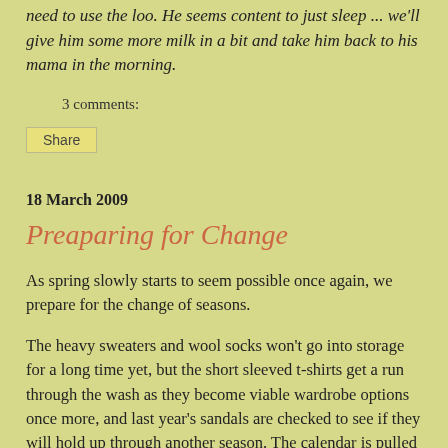need to use the loo. He seems content to just sleep ... we'll give him some more milk in a bit and take him back to his mama in the morning.
3 comments:
Share
18 March 2009
Preaparing for Change
As spring slowly starts to seem possible once again, we prepare for the change of seasons.
The heavy sweaters and wool socks won't go into storage for a long time yet, but the short sleeved t-shirts get a run through the wash as they become viable wardrobe options once more, and last year's sandals are checked to see if they will hold up through another season. The calendar is pulled down from the wall and the dates for planting are